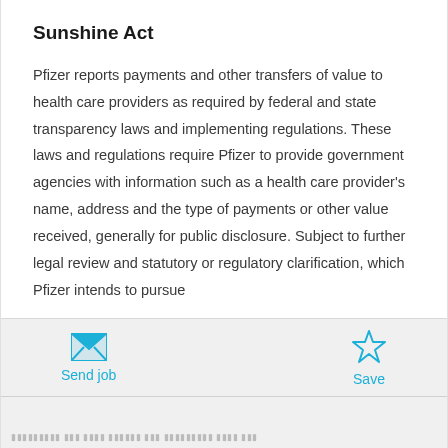Sunshine Act
Pfizer reports payments and other transfers of value to health care providers as required by federal and state transparency laws and implementing regulations. These laws and regulations require Pfizer to provide government agencies with information such as a health care provider's name, address and the type of payments or other value received, generally for public disclosure. Subject to further legal review and statutory or regulatory clarification, which Pfizer intends to pursue
Send job   Save